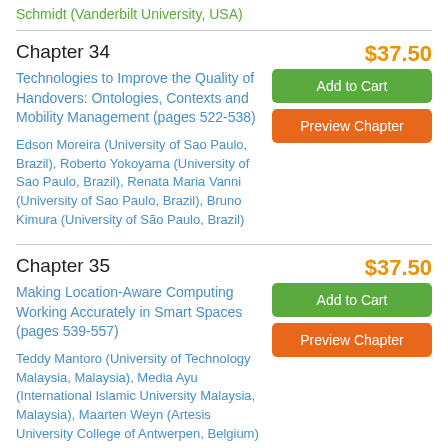Schmidt (Vanderbilt University, USA)
Chapter 34
$37.50
Technologies to Improve the Quality of Handovers: Ontologies, Contexts and Mobility Management (pages 522-538)
Add to Cart
Preview Chapter
Edson Moreira (University of Sao Paulo, Brazil), Roberto Yokoyama (University of Sao Paulo, Brazil), Renata Maria Vanni (University of Sao Paulo, Brazil), Bruno Kimura (University of São Paulo, Brazil)
Chapter 35
$37.50
Making Location-Aware Computing Working Accurately in Smart Spaces (pages 539-557)
Add to Cart
Preview Chapter
Teddy Mantoro (University of Technology Malaysia, Malaysia), Media Ayu (International Islamic University Malaysia, Malaysia), Maarten Weyn (Artesis University College of Antwerpen, Belgium)
Chapter 36
$37.50